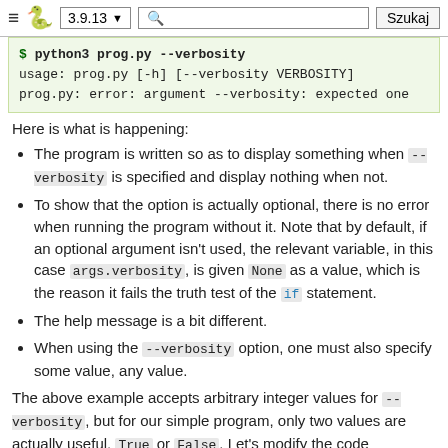≡ 🐍 3.9.13 ▼   🔍   Szukaj
$ python3 prog.py --verbosity
usage: prog.py [-h] [--verbosity VERBOSITY]
prog.py: error: argument --verbosity: expected one
Here is what is happening:
The program is written so as to display something when --verbosity is specified and display nothing when not.
To show that the option is actually optional, there is no error when running the program without it. Note that by default, if an optional argument isn't used, the relevant variable, in this case args.verbosity, is given None as a value, which is the reason it fails the truth test of the if statement.
The help message is a bit different.
When using the --verbosity option, one must also specify some value, any value.
The above example accepts arbitrary integer values for --verbosity, but for our simple program, only two values are actually useful, True or False. Let's modify the code accordingly:
import argparse